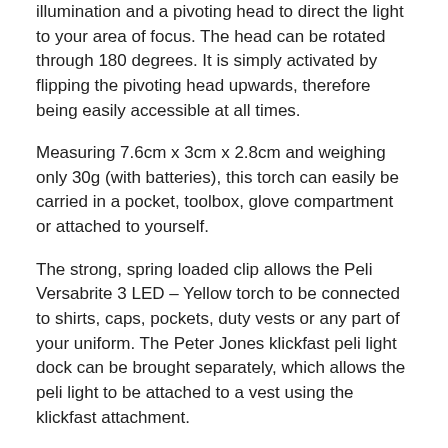illumination and a pivoting head to direct the light to your area of focus. The head can be rotated through 180 degrees. It is simply activated by flipping the pivoting head upwards, therefore being easily accessible at all times.
Measuring 7.6cm x 3cm x 2.8cm and weighing only 30g (with batteries), this torch can easily be carried in a pocket, toolbox, glove compartment or attached to yourself.
The strong, spring loaded clip allows the Peli Versabrite 3 LED – Yellow torch to be connected to shirts, caps, pockets, duty vests or any part of your uniform. The Peter Jones klickfast peli light dock can be brought separately, which allows the peli light to be attached to a vest using the klickfast attachment.
Using two CR2032 coin-cell batteries, it gives out 6 volts/6,000 candle power and lasts for around 100 hours per battery set. The white Nichia LEDs will not need replacing.
Take a look at what some happy customers have said about